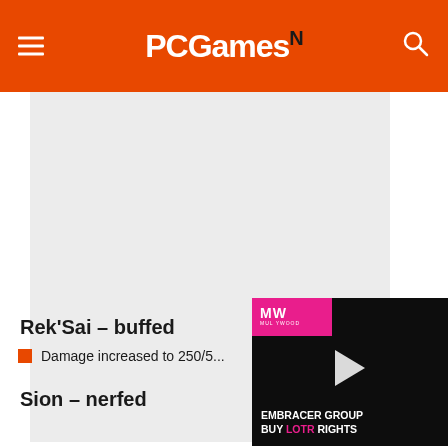PCGamesN
[Figure (screenshot): Gray placeholder advertisement block]
Rek'Sai – buffed
Damage increased to 250/5...
Sion – nerfed
[Figure (screenshot): Video overlay with MW logo, play button, and text: EMBRACER GROUP BUY LOTR RIGHTS]